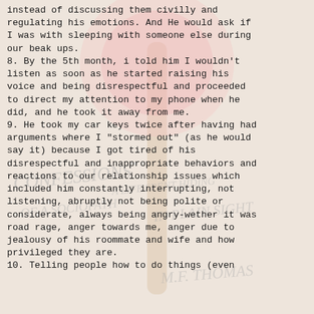instead of discussing them civilly and regulating his emotions. And He would ask if I was with sleeping with someone else during our beak ups.
8. By the 5th month, i told him I wouldn't listen as soon as he started raising his voice and being disrespectful and proceeded to direct my attention to my phone when he did, and he took it away from me.
9. He took my car keys twice after having had arguments where I "stormed out" (as he would say it) because I got tired of his disrespectful and inappropriate behaviors and reactions to our relationship issues which included him constantly interrupting, not listening, abruptly not being polite or considerate, always being angry-wether it was road rage, anger towards me, anger due to jealousy of his roommate and wife and how privileged they are.
10. Telling people how to do things (even